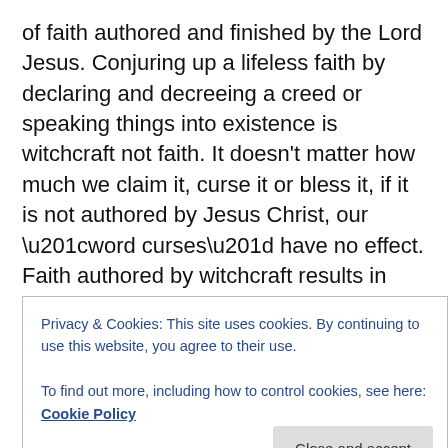of faith authored and finished by the Lord Jesus. Conjuring up a lifeless faith by declaring and decreeing a creed or speaking things into existence is witchcraft not faith. It doesn't matter how much we claim it, curse it or bless it, if it is not authored by Jesus Christ, our “word curses” have no effect. Faith authored by witchcraft results in dead works and dead faith…lifeless faith.  This lifeless faith taught in the word of faith churches has caused many to fall away and for this many will answer.
“Looking unto Jesus the Author and Finisher of our faith; Who for the joy that was set before Him endured the
Privacy & Cookies: This site uses cookies. By continuing to use this website, you agree to their use. To find out more, including how to control cookies, see here: Cookie Policy
faith. Active faith is not conjured up by the words that we